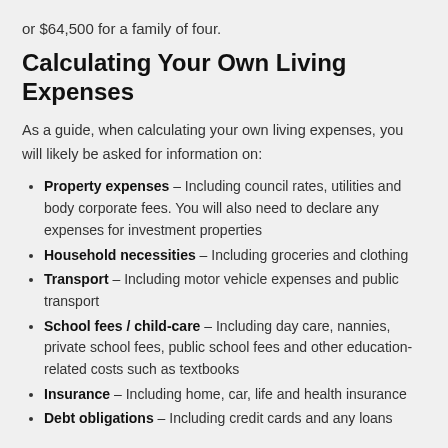or $64,500 for a family of four.
Calculating Your Own Living Expenses
As a guide, when calculating your own living expenses, you will likely be asked for information on:
Property expenses – Including council rates, utilities and body corporate fees. You will also need to declare any expenses for investment properties
Household necessities – Including groceries and clothing
Transport – Including motor vehicle expenses and public transport
School fees / child-care – Including day care, nannies, private school fees, public school fees and other education-related costs such as textbooks
Insurance – Including home, car, life and health insurance
Debt obligations – Including credit cards and any loans